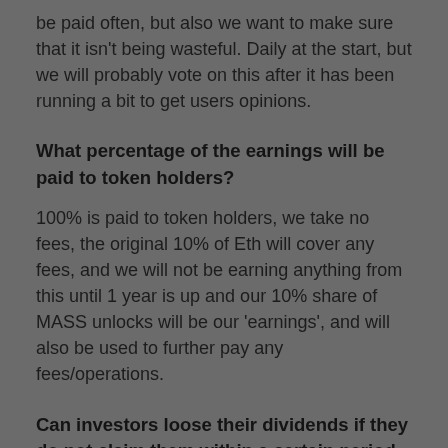be paid often, but also we want to make sure that it isn't being wasteful. Daily at the start, but we will probably vote on this after it has been running a bit to get users opinions.
What percentage of the earnings will be paid to token holders?
100% is paid to token holders, we take no fees, the original 10% of Eth will cover any fees, and we will not be earning anything from this until 1 year is up and our 10% share of MASS unlocks will be our 'earnings', and will also be used to further pay any fees/operations.
Can investors loose their dividends if they do not claim them within a certain period of time?